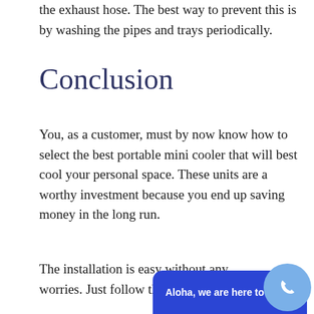the exhaust hose. The best way to prevent this is by washing the pipes and trays periodically.
Conclusion
You, as a customer, must by now know how to select the best portable mini cooler that will best cool your personal space. These units are a worthy investment because you end up saving money in the long run.
The installation is easy without any worries. Just follow this
[Figure (screenshot): Blue chat widget bar at bottom reading 'Aloha, we are here to help!' with a yellow-green dot, and a light blue circular phone button icon overlay at bottom right]